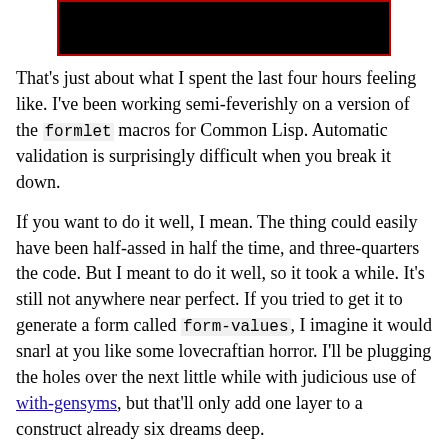[Figure (other): Black rectangle with red border, likely a redacted image or placeholder graphic]
That's just about what I spent the last four hours feeling like. I've been working semi-feverishly on a version of the formlet macros for Common Lisp. Automatic validation is surprisingly difficult when you break it down.
If you want to do it well, I mean. The thing could easily have been half-assed in half the time, and three-quarters the code. But I meant to do it well, so it took a while. It's still not anywhere near perfect. If you tried to get it to generate a form called form-values, I imagine it would snarl at you like some lovecraftian horror. I'll be plugging the holes over the next little while with judicious use of with-gensyms, but that'll only add one layer to a construct already six dreams deep.
It's fucking bizarre, I tell you. On days like this, I can sort of see why people stay away from Lisps in general. Not all minds can be made to twist in on themselves indefinitely; mine was barely capable of six levels, like I said. By which I mean, the formlet system I wrote is